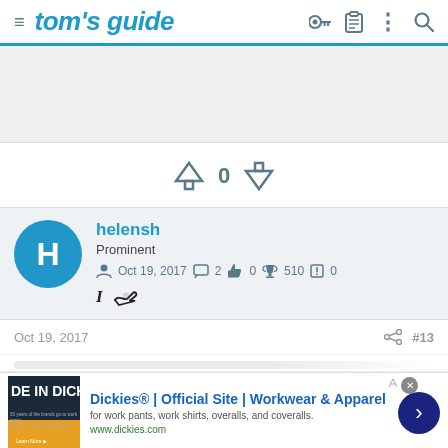tom's guide
[Figure (other): Advertisement placeholder area (gray box)]
↑ 0 ↓
[Figure (other): User profile card: avatar H, username helensh, Prominent, Oct 19 2017, 2 messages, 0 likes, 510 points, 0]
Oct 19, 2017   #13
[Figure (other): Advertisement: Dickies Official Site Workwear and Apparel, for work pants, work shirts, overalls, and coveralls. www.dickies.com]